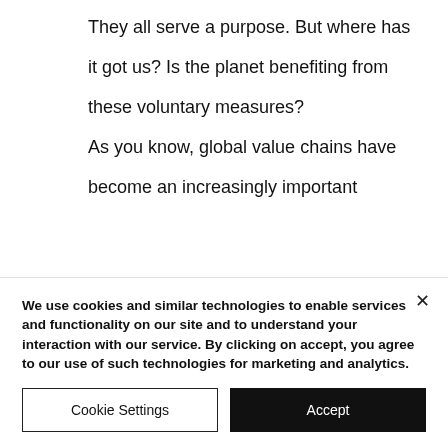They all serve a purpose. But where has it got us? Is the planet benefiting from these voluntary measures? As you know, global value chains have become an increasingly important
We use cookies and similar technologies to enable services and functionality on our site and to understand your interaction with our service. By clicking on accept, you agree to our use of such technologies for marketing and analytics.